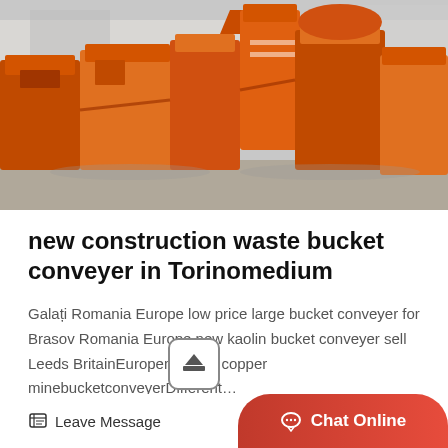[Figure (photo): Orange industrial construction waste bucket conveyers/bins lined up in an outdoor industrial yard, with a building in the background.]
new construction waste bucket conveyer in Torinomedium
Galați Romania Europe low price large bucket conveyer for Brasov Romania Europe new kaolin bucket conveyer sell Leeds BritainEuropemedium copper minebucketconveyerDifferent…
Read More
Leave Message
Chat Online